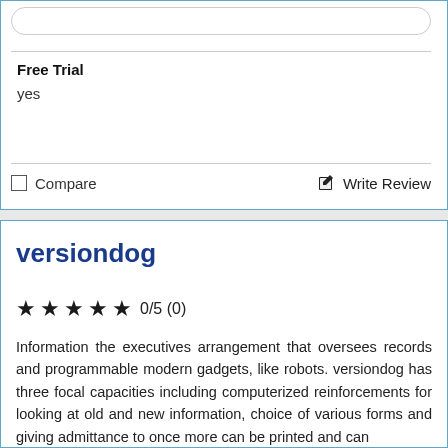Free Trial
yes
Compare
Write Review
versiondog
0/5 (0)
Information the executives arrangement that oversees records and programmable modern gadgets, like robots. versiondog has three focal capacities including computerized reinforcements for looking at old and new information, choice of various forms and giving admittance to once more can be printed and can